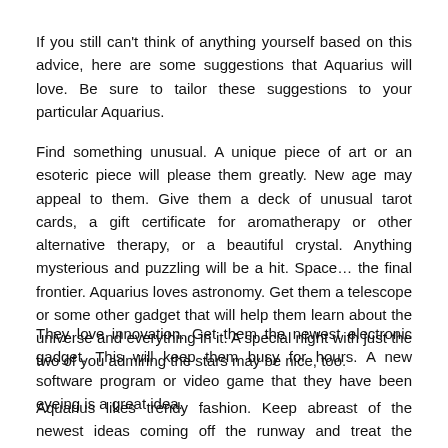If you still can't think of anything yourself based on this advice, here are some suggestions that Aquarius will love. Be sure to tailor these suggestions to your particular Aquarius.
Find something unusual. A unique piece of art or an esoteric piece will please them greatly. New age may appeal to them. Give them a deck of unusual tarot cards, a gift certificate for aromatherapy or other alternative therapy, or a beautiful crystal. Anything mysterious and puzzling will be a hit. Space… the final frontier. Aquarius loves astronomy. Get them a telescope or some other gadget that will help them learn about the universe and everything in it. A special night with just the two of you admiring the stars may be nice, too.
They love innovation. Get them the newest electronic gadget. This will keep them busy for hours. A new software program or video game that they have been eyeing is a great idea.
Aquarius likes trendy fashion. Keep abreast of the newest ideas coming off the runway and treat the Aquarius in your life to something special. A trendy